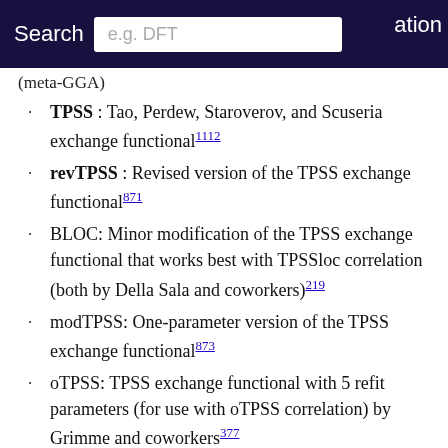Search  e.g. DFT  ation
(meta-GGA)
TPSS : Tao, Perdew, Staroverov, and Scuseria exchange functional 1112
revTPSS : Revised version of the TPSS exchange functional 871
BLOC: Minor modification of the TPSS exchange functional that works best with TPSSloc correlation (both by Della Sala and coworkers) 219
modTPSS: One-parameter version of the TPSS exchange functional 873
oTPSS: TPSS exchange functional with 5 refit parameters (for use with oTPSS correlation) by Grimme and coworkers 377